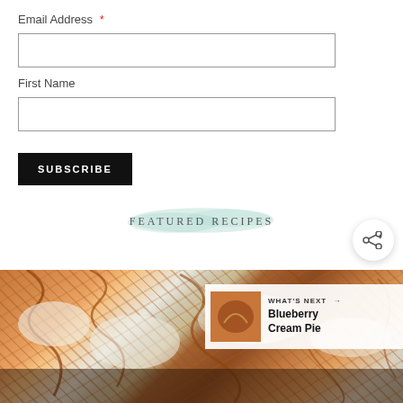Email Address *
First Name
SUBSCRIBE
FEATURED RECIPES
[Figure (photo): Close-up photo of a dessert bar with caramel drizzle on top of whipped cream and chocolate base]
WHAT'S NEXT → Blueberry Cream Pie